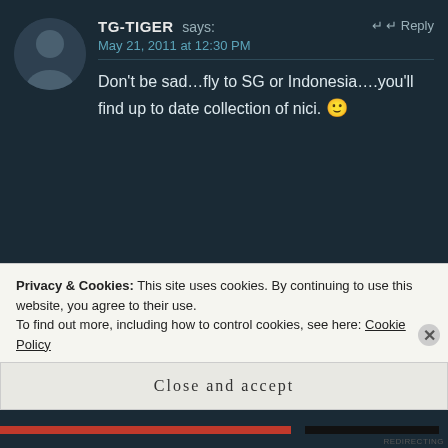TG-TIGER says: May 21, 2011 at 12:30 PM
Don't be sad...fly to SG or Indonesia....you'll find up to date collection of nici. 🙂
SSATURN says: May 21, 2011 at 1:07 PM
Privacy & Cookies: This site uses cookies. By continuing to use this website, you agree to their use. To find out more, including how to control cookies, see here: Cookie Policy
Close and accept